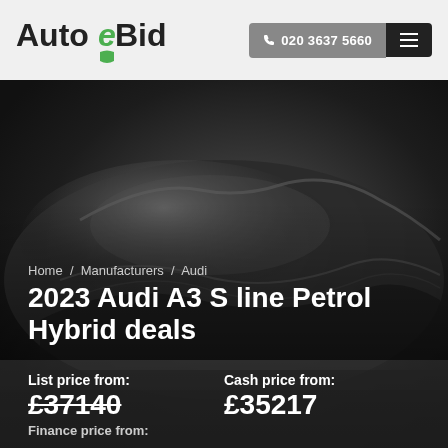[Figure (logo): AutoeBid logo with green shield and stylized 'e' letter]
020 3637 5660
[Figure (photo): A car draped under a dark grey cover/sheet, photographed in black and white]
Home / Manufacturers / Audi
2023 Audi A3 S line Petrol Hybrid deals
List price from: £37140
Cash price from: £35217
Finance price from: